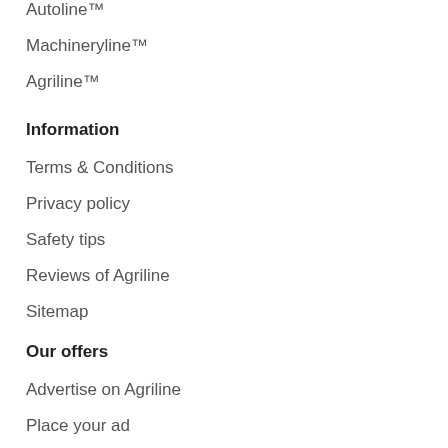Autoline™
Machineryline™
Agriline™
Information
Terms & Conditions
Privacy policy
Safety tips
Reviews of Agriline
Sitemap
Our offers
Advertise on Agriline
Place your ad